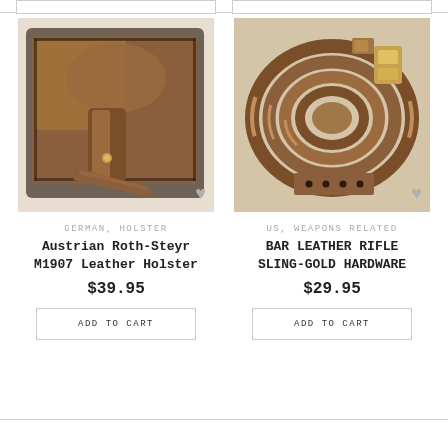[Figure (photo): Brown leather holster with dark stitching and strap, close-up product photo]
GERMAN, HOLSTER
Austrian Roth-Steyr M1907 Leather Holster
$39.95
ADD TO CART
[Figure (photo): Coiled brown leather rifle sling with gold hardware, close-up product photo]
US, WEAPONS RELATED
BAR LEATHER RIFLE SLING-GOLD HARDWARE
$29.95
ADD TO CART